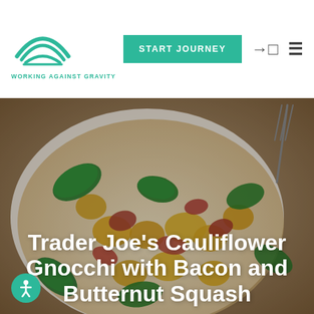[Figure (logo): Working Against Gravity logo — stylized concentric arcs forming a bowl/planet shape in teal/green, with text 'WORKING AGAINST GRAVITY' below]
START JOURNEY
[Figure (photo): Close-up photo of a plate of gnocchi with bacon, butternut squash, and fresh basil/spinach leaves, shot from above-angle; a fork is visible at the top right]
Trader Joe's Cauliflower Gnocchi with Bacon and Butternut Squash